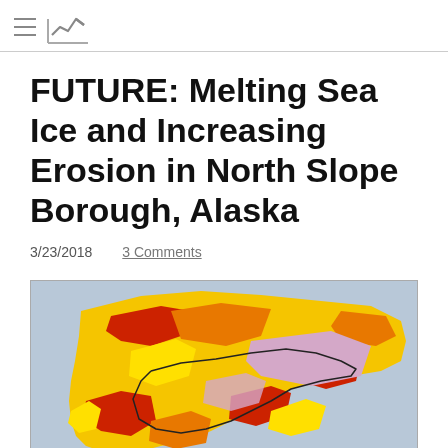≡ [chart logo icon]
FUTURE: Melting Sea Ice and Increasing Erosion in North Slope Borough, Alaska
3/23/2018    3 Comments
[Figure (map): Color-coded map of North Slope Borough, Alaska showing erosion risk areas. Colors include yellow, orange, red, and light purple/pink indicating varying degrees of erosion vulnerability. A dark boundary line delineates the borough boundary.]